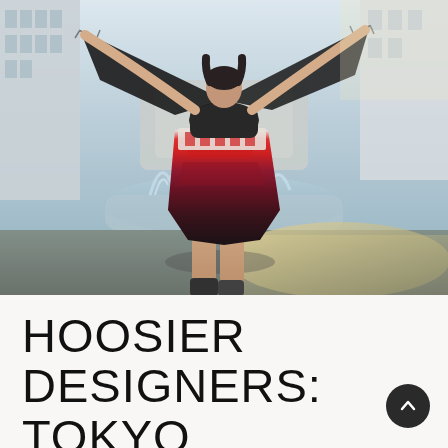[Figure (photo): Fashion photo of a person standing in front of a fountain, wearing a black flowing shawl/top and a colorful red and black patterned skirt with high-low hemline. Urban outdoor setting with buildings in background, bright sunlight on pavement.]
HOOSIER DESIGNERS: TOKYO TWIGGY